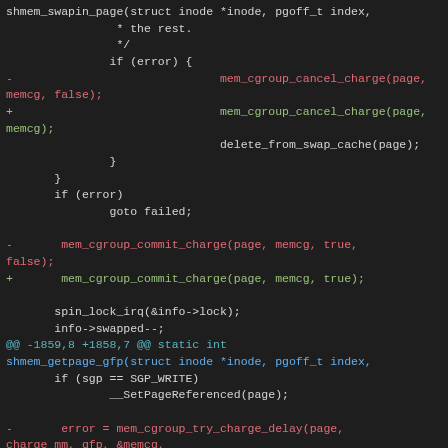[Figure (screenshot): Diff/patch view of C source code showing changes to shmem kernel functions. Lines shown with removed (red), added (green), context (blue/cyan), and default (gray) coloring typical of unified diff format.]